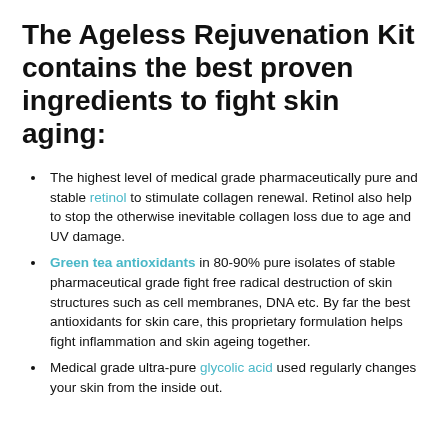The Ageless Rejuvenation Kit contains the best proven ingredients to fight skin aging:
The highest level of medical grade pharmaceutically pure and stable retinol to stimulate collagen renewal. Retinol also help to stop the otherwise inevitable collagen loss due to age and UV damage.
Green tea antioxidants in 80-90% pure isolates of stable pharmaceutical grade fight free radical destruction of skin structures such as cell membranes, DNA etc. By far the best antioxidants for skin care, this proprietary formulation helps fight inflammation and skin ageing together.
Medical grade ultra-pure glycolic acid used regularly changes your skin from the inside out.